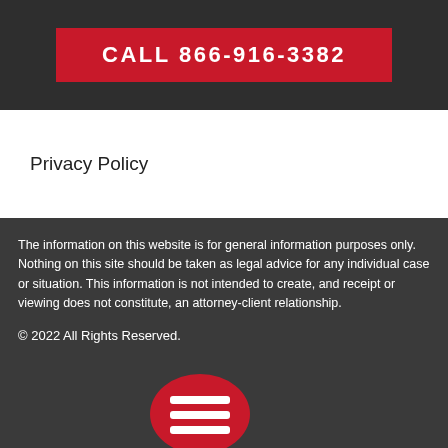CALL 866-916-3382
Privacy Policy
The information on this website is for general information purposes only. Nothing on this site should be taken as legal advice for any individual case or situation. This information is not intended to create, and receipt or viewing does not constitute, an attorney-client relationship.
© 2022 All Rights Reserved.
[Figure (logo): Red rounded rectangle icon with three white horizontal lines (hamburger/menu icon)]